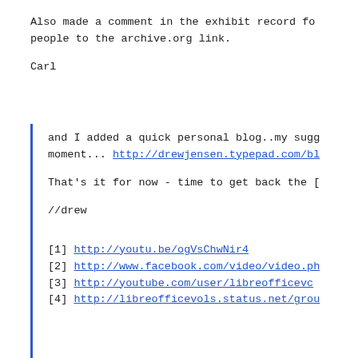Also made a comment in the exhibit record fo
people to the archive.org link.
Carl
and I added a quick personal blog..my sugg
moment... http://drewjensen.typepad.com/bl
That's it for now - time to get back the [
//drew
[1] http://youtu.be/ogVsChwNir4
[2] http://www.facebook.com/video/video.ph
[3] http://youtube.com/user/libreofficevc
[4] http://libreofficevols.status.net/grou